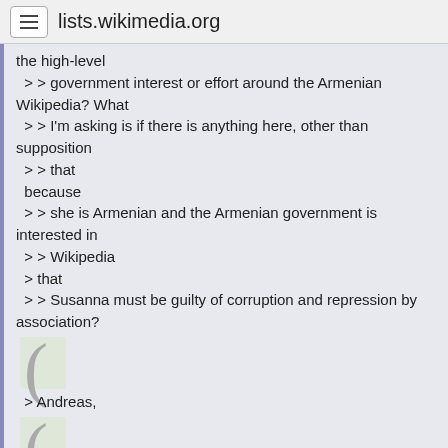lists.wikimedia.org
the high-level
> > government interest or effort around the Armenian Wikipedia? What
> > I'm asking is if there is anything here, other than supposition
> > that
because
> > she is Armenian and the Armenian government is interested in
> > Wikipedia
> that
> > Susanna must be guilty of corruption and repression by association?
> Andreas,
> You are making very strong and, what's worse, completely